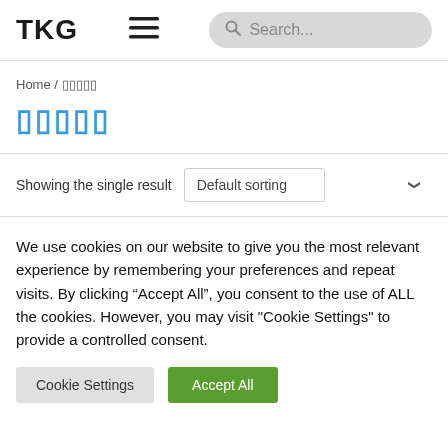TKG
Home /
Showing the single result
We use cookies on our website to give you the most relevant experience by remembering your preferences and repeat visits. By clicking “Accept All”, you consent to the use of ALL the cookies. However, you may visit "Cookie Settings" to provide a controlled consent.
Cookie Settings | Accept All